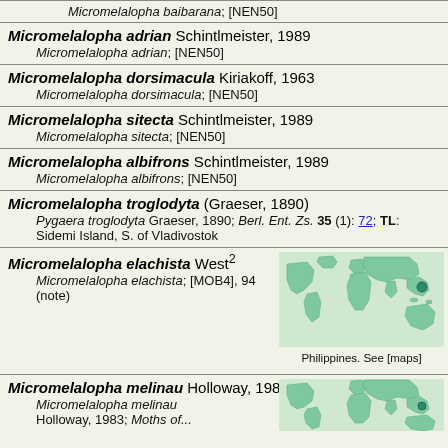Micromelalopha baibarana; [NEN50]
Micromelalopha adrian Schintlmeister, 1989
Micromelalopha adrian; [NEN50]
Micromelalopha dorsimacula Kiriakoff, 1963
Micromelalopha dorsimacula; [NEN50]
Micromelalopha sitecta Schintlmeister, 1989
Micromelalopha sitecta; [NEN50]
Micromelalopha albifrons Schintlmeister, 1989
Micromelalopha albifrons; [NEN50]
Micromelalopha troglodyta (Graeser, 1890)
Pygaera troglodyta Graeser, 1890; Berl. Ent. Zs. 35 (1): 72; TL: Sidemi Island, S. of Vladivostok
Micromelalopha elachista West²
Micromelalopha elachista; [MOB4], 94 (note)
[Figure (map): World map showing distribution in Philippines region, highlighted in green]
Philippines. See [maps]
Micromelalopha melinau Holloway, 1983
Micromelalopha melinau
Holloway, 1983; Moths of...